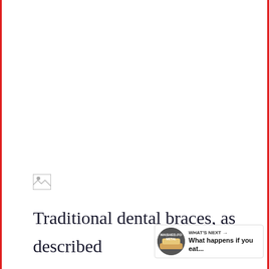[Figure (photo): Broken/missing image placeholder icon]
Traditional dental braces, as described by the American Association of Orthodontists, are made up of metal brackets and wires that are affixed to